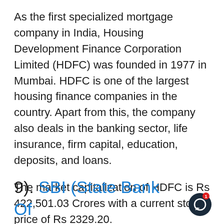As the first specialized mortgage company in India, Housing Development Finance Corporation Limited (HDFC) was founded in 1977 in Mumbai. HDFC is one of the largest housing finance companies in the country. Apart from this, the company also deals in the banking sector, life insurance, firm capital, education, deposits, and loans.
The market capitalization of HDFC is Rs 422,501.03 Crores with a current stock price of Rs 2329.20.
9). SBI (State Bank Of